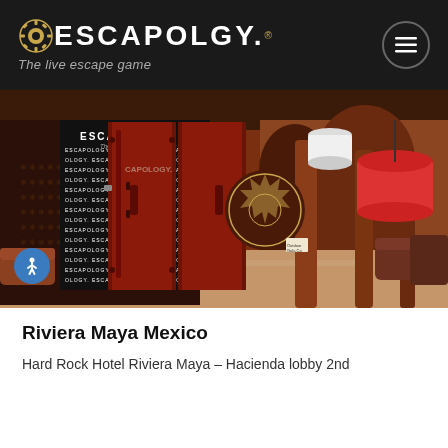ESCAPOLOGY. The live escape game
[Figure (photo): Interior of Escapology escape game venue at Hard Rock Hotel Riviera Maya - large red metal container door with Escapology branded step-and-repeat backdrop, orange/terracotta arched hallway with red pendant lamps and decorative wall art]
Riviera Maya Mexico
Hard Rock Hotel Riviera Maya - Hacienda lobby 2nd